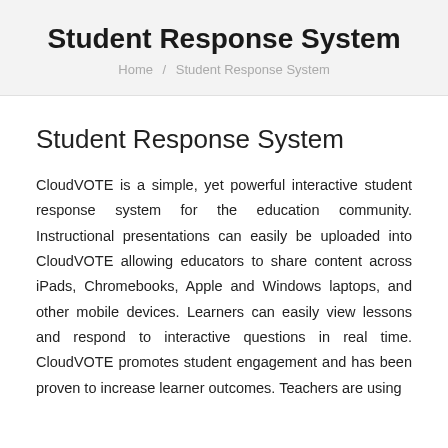Student Response System
Home / Student Response System
Student Response System
CloudVOTE is a simple, yet powerful interactive student response system for the education community. Instructional presentations can easily be uploaded into CloudVOTE allowing educators to share content across iPads, Chromebooks, Apple and Windows laptops, and other mobile devices. Learners can easily view lessons and respond to interactive questions in real time. CloudVOTE promotes student engagement and has been proven to increase learner outcomes. Teachers are using